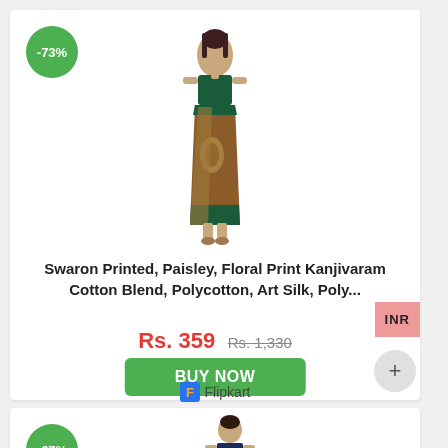[Figure (photo): Woman wearing a printed Kanjivaram saree in brown, beige and teal colors]
-73%
Swaron Printed, Paisley, Floral Print Kanjivaram Cotton Blend, Polycotton, Art Silk, Poly...
Rs. 359 Rs. 1,330
BUY NOW
Flipkart
INR
[Figure (photo): Woman wearing a navy blue printed saree]
-67%